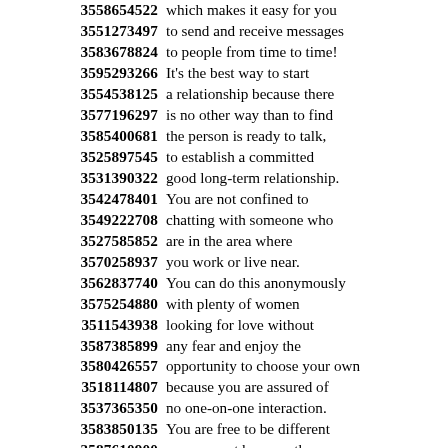3558654522 which makes it easy for you
3551273497 to send and receive messages
3583678824 to people from time to time!
3595293266 It's the best way to start
3554538125 a relationship because there
3577196297 is no other way than to find
3585400681 the person is ready to talk,
3525897545 to establish a committed
3531390322 good long-term relationship.
3542478401 You are not confined to
3549222708 chatting with someone who
3527585852 are in the area where
3570258937 you work or live near.
3562837740 You can do this anonymously
3575254880 with plenty of women
3511543938 looking for love without
3587385899 any fear and enjoy the
3580426557 opportunity to choose your own
3518114807 because you are assured of
3537365350 no one-on-one interaction.
3583850135 You are free to be different
3587610900 as you want because there are
3574342554 plenty of women looking for
3526362628 relationships to connect with.
3561592473 You can chat with any of
3528828795 single and looking for marriage